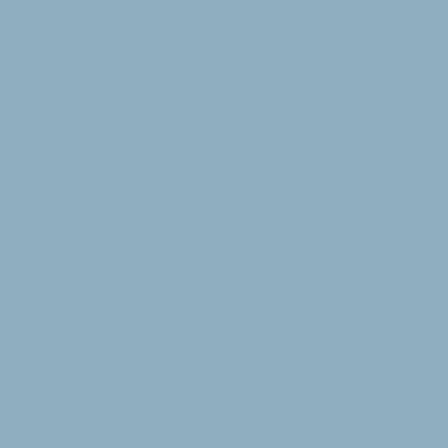connected to y... DVD used to b... is one of the m... directly over th... issues / game ... your Xbox a d... cooling kits or ... GPU alone dr... enabled !!! The... the ground up... Xecuter forum... user reported r... after 5 minutes... with a Whispe... xFan - he teste... manually after... !!! AMAZING R...
[Figure (other): Four orange star rating icons]
Sign in to rate
Our price: $59... Market price: $...
Quantity  Ou...
Notify me w...
[Figure (photo): Product thumbnail image with white rectangular object on dark background]
Xecuter xDr...
SKU: xdriv1...